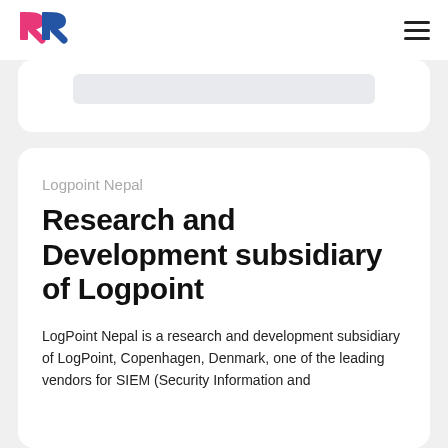[Figure (logo): Double-R logo with pink and blue letters]
[Figure (illustration): Hamburger menu icon (three horizontal lines)]
[Figure (screenshot): Partially visible card with a grey search bar or input field]
Logpoint Nepal
Research and Development subsidiary of Logpoint
LogPoint Nepal is a research and development subsidiary of LogPoint, Copenhagen, Denmark, one of the leading vendors for SIEM (Security Information and